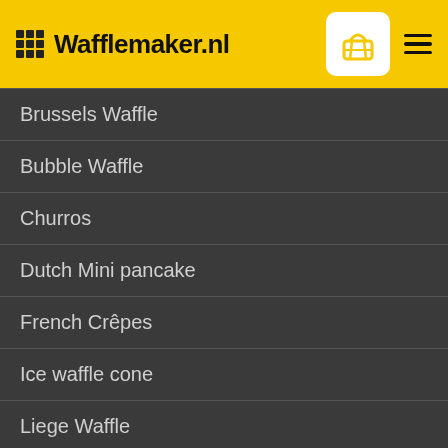Wafflemaker.nl
Brussels Waffle
Bubble Waffle
Churros
Dutch Mini pancake
French Crêpes
Ice waffle cone
Liege Waffle
Syrupwaffle
Twist Pop
Waffle on a stick
By continuing to use the site, you agree to the use of cookies.
more information
Accept